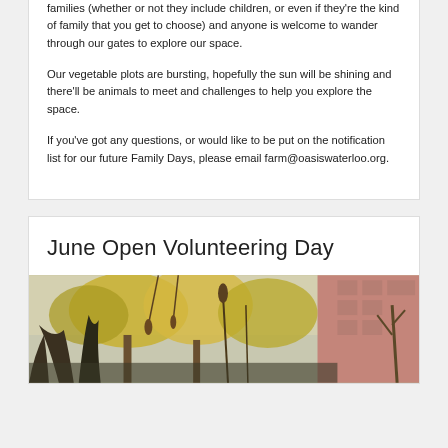families (whether or not they include children, or even if they're the kind of family that you get to choose) and anyone is welcome to wander through our gates to explore our space.
Our vegetable plots are bursting, hopefully the sun will be shining and there'll be animals to meet and challenges to help you explore the space.
If you've got any questions, or would like to be put on the notification list for our future Family Days, please email farm@oasiswaterloo.org.
June Open Volunteering Day
[Figure (photo): Outdoor urban farm scene with trees showing autumn foliage, plants in the foreground, and a brick building visible in the background]